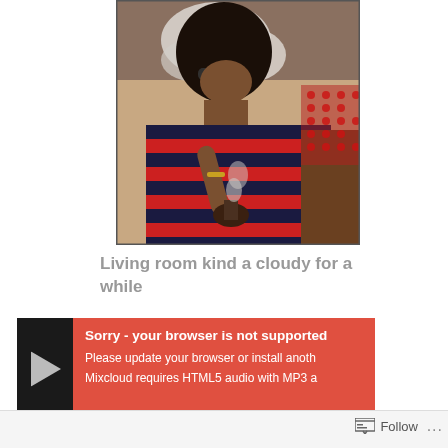[Figure (photo): Person wearing sunglasses and a red and dark striped shirt, surrounded by smoke, holding what appears to be a pipe or similar object. Another person is visible in the background on the right side with a red pattern.]
Living room kind a cloudy for a while
[Figure (screenshot): Audio player widget with dark background. Play button on the left. Red panel with error message: 'Sorry - your browser is not supported'. Text below: 'Please update your browser or install anoth...' and 'Mixcloud requires HTML5 audio with MP3 a...']
Follow